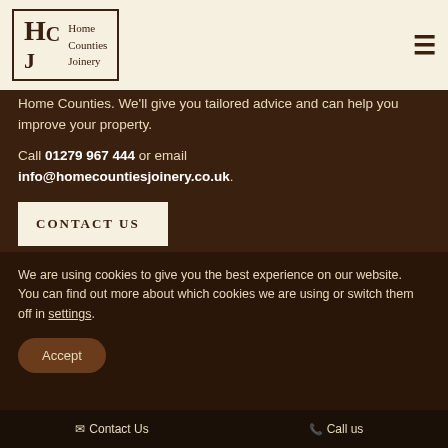[Figure (logo): Home Counties Joinery logo with HCJ monogram in a bordered box on beige background, with hamburger menu icon on right]
Home Counties. We'll give you tailored advice and can help you improve your property.
Call 01279 967 444 or email info@homecountiesjoinery.co.uk.
CONTACT US
We are using cookies to give you the best experience on our website.
You can find out more about which cookies we are using or switch them off in settings.
Accept
Contact Us   Call us